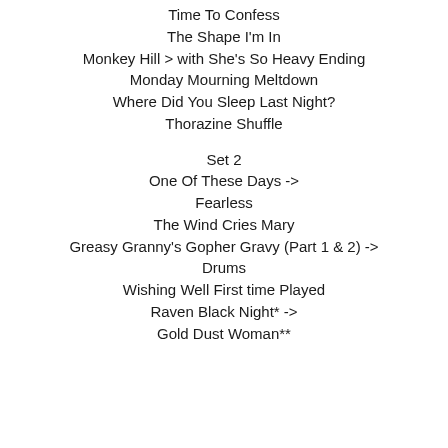Time To Confess
The Shape I'm In
Monkey Hill > with She's So Heavy Ending
Monday Mourning Meltdown
Where Did You Sleep Last Night?
Thorazine Shuffle
Set 2
One Of These Days ->
Fearless
The Wind Cries Mary
Greasy Granny's Gopher Gravy (Part 1 & 2) ->
Drums
Wishing Well First time Played
Raven Black Night* ->
Gold Dust Woman**